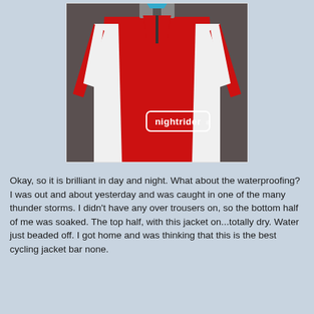[Figure (photo): A red Nightrider cycling jacket hanging on a hanger against a dark background. The jacket is red with white side panels and has the 'nightrider' logo on the lower front.]
Okay, so it is brilliant in day and night. What about the waterproofing? I was out and about yesterday and was caught in one of the many thunder storms. I didn't have any over trousers on, so the bottom half of me was soaked. The top half, with this jacket on...totally dry. Water just beaded off. I got home and was thinking that this is the best cycling jacket bar none.